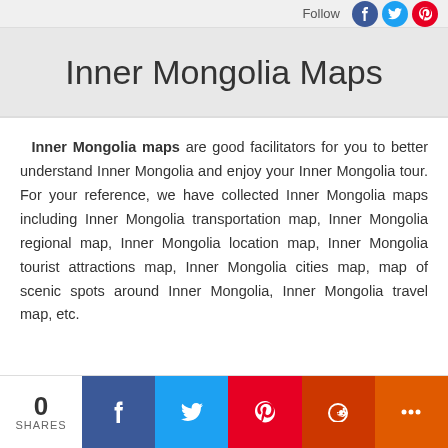Follow
Inner Mongolia Maps
Inner Mongolia maps are good facilitators for you to better understand Inner Mongolia and enjoy your Inner Mongolia tour. For your reference, we have collected Inner Mongolia maps including Inner Mongolia transportation map, Inner Mongolia regional map, Inner Mongolia location map, Inner Mongolia tourist attractions map, Inner Mongolia cities map, map of scenic spots around Inner Mongolia, Inner Mongolia travel map, etc.
0 SHARES